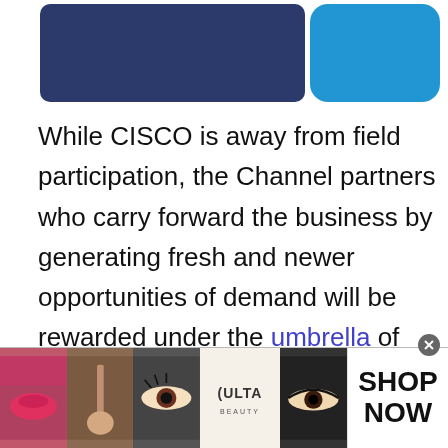[Figure (illustration): Header graphic with dark navy blue shape on left and bright blue rounded shape on right against white background]
While CISCO is away from field participation, the Channel partners who carry forward the business by generating fresh and newer opportunities of demand will be rewarded under the umbrella of this program. As the name suggests, the [play button] O OIP program is for boosting business opportunities for CISCO with the
[Figure (photo): Advertisement banner for ULTA Beauty showing makeup images (lips, brush, eyes) with ULTA logo and SHOP NOW call to action]